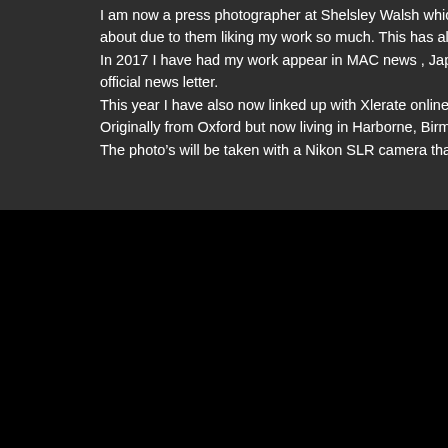I am now a press photographer at Shelsley Walsh whic about due to them liking my work so much. This has als In 2017 I have had my work appear in MAC news , Japan official news letter. This year I have also now linked up with Xlerate online Originally from Oxford but now living in Harborne, Birm The photo's will be taken with a Nikon SLR camera that